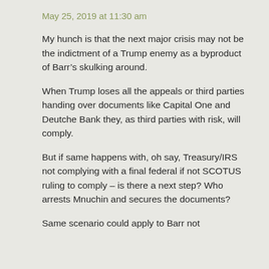May 25, 2019 at 11:30 am
My hunch is that the next major crisis may not be the indictment of a Trump enemy as a byproduct of Barr’s skulking around.
When Trump loses all the appeals or third parties handing over documents like Capital One and Deutche Bank they, as third parties with risk, will comply.
But if same happens with, oh say, Treasury/IRS not complying with a final federal if not SCOTUS ruling to comply – is there a next step? Who arrests Mnuchin and secures the documents?
Same scenario could apply to Barr not